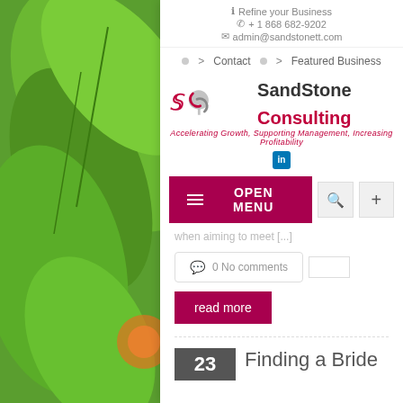Refine your Business | + 1 868 682-9202 | admin@sandstonett.com
Contact
Featured Business
[Figure (logo): SandStone Consulting logo with S icon and tagline: Accelerating Growth, Supporting Management, Increasing Profitability]
[Figure (logo): LinkedIn icon]
OPEN MENU
when aiming to meet [...]
0 No comments
read more
Finding a Bride